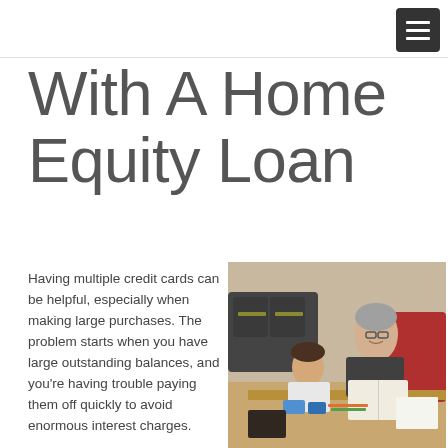With A Home Equity Loan
Having multiple credit cards can be helpful, especially when making large purchases. The problem starts when you have large outstanding balances, and you're having trouble paying them off quickly to avoid enormous interest charges.
You may have heard about using a home equity loan to pay off your credit card balances, and this will help
[Figure (photo): An older woman with glasses and a young boy sitting at a table with books, notebooks, and study materials. There is a sofa with cushions and a red chair in the background.]